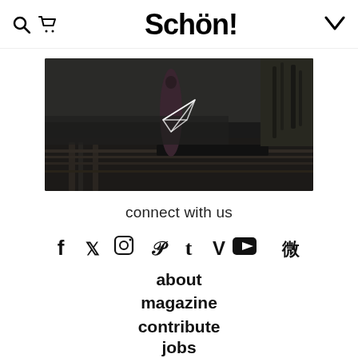Schön!
[Figure (photo): Dark moody photo of a person in a long dark red/maroon dress standing on a wooden dock near water and reeds, with a paper airplane icon overlay in the center]
connect with us
[Figure (infographic): Row of social media icons: Facebook (f), Twitter (bird), Instagram (camera), Pinterest (P), Tumblr (t), Vimeo (V), YouTube, Weibo]
about
magazine
contribute
jobs
share